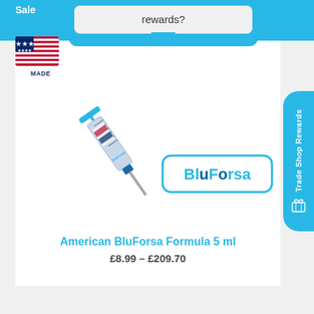Sale
rewards?
[Figure (photo): American BluForsa Formula 5ml syringe/injector product with blue accents, shown diagonally, with BluForsa brand logo in cyan/teal colour with rounded rectangle border]
Trade Shop Rewards
American BluForsa Formula 5 ml
£8.99 – £209.70